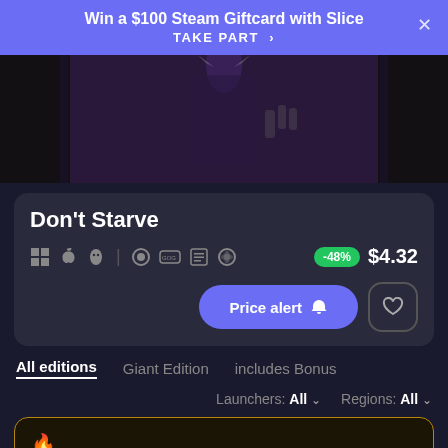Win a $100 Steam Giftcard with Slice
TAKE PART >
[Figure (illustration): Dark purple-toned game artwork showing an animated character with horns and dark clothing, partially visible]
Don't Starve
-48%  $4.32
Price alert  Wishlist
All editions
Giant Edition
includes Bonus
Launchers: All  Regions: All
[Figure (other): Bottom card with gold border and flame icon, partially visible]